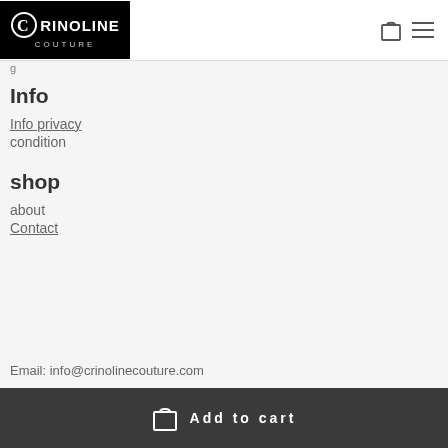Crinoline Couture
Info
Info privacy
condition
shop
about
Contact
Email: info@crinolinecouture.com
Add to cart